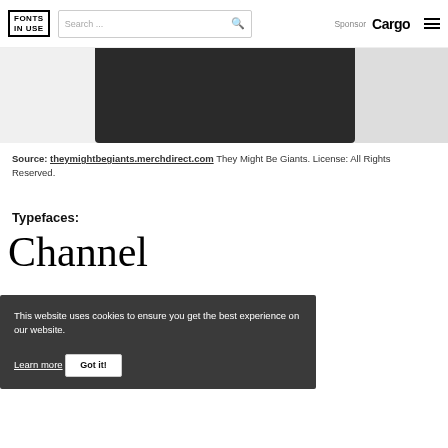FONTS IN USE — Search — Sponsor Cargo
[Figure (photo): Partial view of a dark black merchandise item (cloth/blanket) against a light gray background]
Source: theymightbegiants.merchdirect.com They Might Be Giants. License: All Rights Reserved.
Typefaces:
Channel
This website uses cookies to ensure you get the best experience on our website. Learn more
Got it!
Formats: Object/Product
Topics: Fashion/Apparel, Music